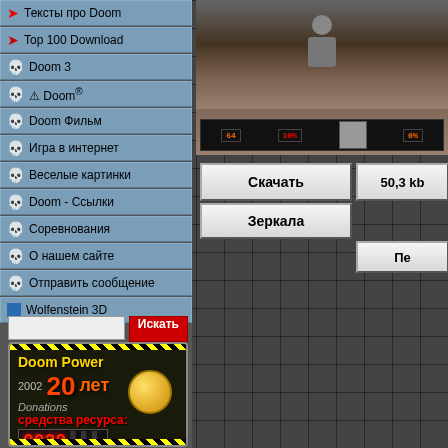Тексты про Doom
Top 100 Download
Doom 3
Doom®
Doom Фильм
Игра в интернет
Веселые картинки
Doom - Ссылки
Соревнования
О нашем сайте
Отправить сообщение
Wolfenstein 3D
[Figure (screenshot): Doom game screenshot with HUD showing health, ammo, face, and armor]
Скачать
50,3 kb
Зеркала
Пе
[Figure (infographic): Doom Power 2002 - 20 лет, Donations средства ресурса: counter 0029]